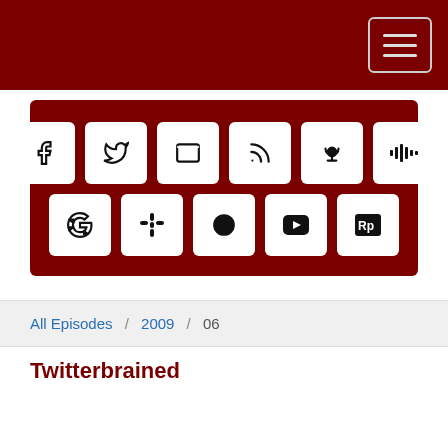[Figure (infographic): Dark red banner with two rows of social/platform icon buttons: Facebook, Twitter, Email, RSS, Podcast, Stitcher (top row); Google, Google Podcasts, Spotify, YouTube, RadioPublic (bottom row)]
All Episodes / 2009 / 06
Twitterbrained